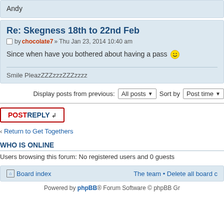Andy
Re: Skegness 18th to 22nd Feb
by chocolate7 » Thu Jan 23, 2014 10:40 am
Since when have you bothered about having a pass 😊
Smile PleazZZZzzzZZZzzzz
Display posts from previous: All posts Sort by Post time
POSTREPLY
Return to Get Togethers
WHO IS ONLINE
Users browsing this forum: No registered users and 0 guests
Board index  The team • Delete all board c
Powered by phpBB® Forum Software © phpBB Gr